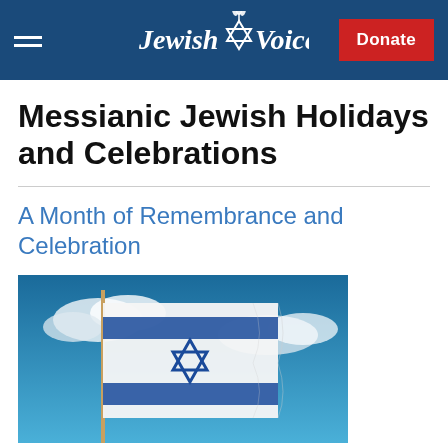Jewish Voice — Donate
Messianic Jewish Holidays and Celebrations
A Month of Remembrance and Celebration
[Figure (photo): Israeli flag waving on a flagpole against a blue sky with white clouds]